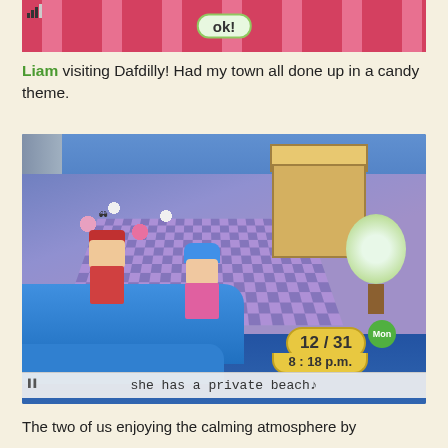[Figure (screenshot): Animal Crossing game screenshot showing a pink/red patterned background with 'ok!' dialogue bubble and signal icon in the top left corner]
Liam visiting Dafdilly! Had my town all done up in a candy theme.
[Figure (screenshot): Animal Crossing: New Leaf gameplay screenshot showing two characters (one with red hat and glasses, one with blue hair and pink outfit) near a private beach with flowers, a golden house, a tree, and a date display showing 12/31 Mon 8:18 p.m. Text at bottom reads 'she has a private beach♪']
The two of us enjoying the calming atmosphere by